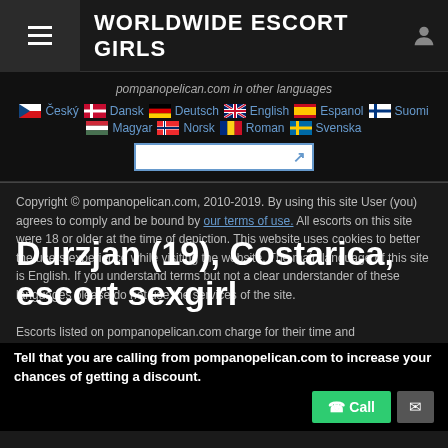WORLDWIDE ESCORT GIRLS
pompanopelican.com in other languages
Český Dansk Deutsch English Espanol Suomi Magyar Norsk Roman Svenska
Copyright © pompanopelican.com, 2010-2019. By using this site User (you) agrees to comply and be bound by our terms of use. All escorts on this site were 18 or older at the time of depiction. This website uses cookies to better the users experience while visiting the website. The main language of this site is English. If you understand terms but not a clear understander of these languages please do not use the services of the site.
Durzjan (19), Costarica, escort sexgirl
Escorts listed on pompanopelican.com charge for their time and companionship only, anything else that may occur is a matter of coincidence
Tell that you are calling from pompanopelican.com to increase your chances of getting a discount.
(The Site) do not support or advertise business base ... hereby declare ... and companionship only in your advertisement(s). You also accept that you...